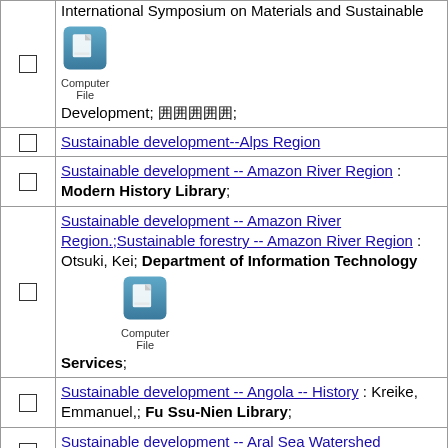International Symposium on Materials and Sustainable Development; [Japanese chars]; Computer File
Sustainable development--Alps Region
Sustainable development -- Amazon River Region : Modern History Library;
Sustainable development -- Amazon River Region.;Sustainable forestry -- Amazon River Region : Otsuki, Kei; Department of Information Technology Computer File Services;
Sustainable development -- Angola -- History : Kreike, Emmanuel,; Fu Ssu-Nien Library;
Sustainable development -- Aral Sea Watershed (Uzbekistan and Kazakhstan)
Sustainable development -- Arctic regions
Sustainable development -- Arid regions : Kojima, Satoshi; Economics Library;
Sustainable development -- Asia
Sustainable development -- Asia.;Asia -- Economic conditions -- 21st century;Asia -- Economic policy;Asia...